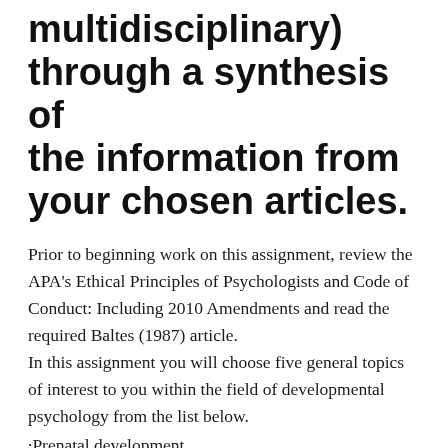multidisciplinary) through a synthesis of the information from your chosen articles.
Prior to beginning work on this assignment, review the APA's Ethical Principles of Psychologists and Code of Conduct: Including 2010 Amendments and read the required Baltes (1987) article.
In this assignment you will choose five general topics of interest to you within the field of developmental psychology from the list below.
·Prenatal development
·Infant care